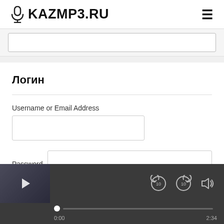🎙KAZMP3.RU ≡
[Figure (screenshot): Search input box partially visible]
Логин
Username or Email Address
Password
[Figure (screenshot): Music player bar with thumbnail, rewind/forward 10s controls, volume icon, progress bar showing 0:00 / 2:34]